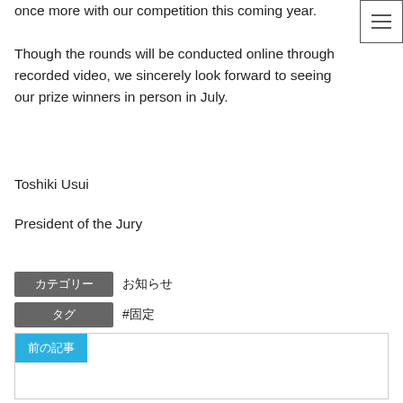once more with our competition this coming year.
Though the rounds will be conducted online through recorded video, we sincerely look forward to seeing our prize winners in person in July.
Toshiki Usui
President of the Jury
| カテゴリー | タグ |
| --- | --- |
| お知らせ | #固定 |
[Figure (other): 前の記事 (Previous article) navigation box with a cyan button label and empty bordered content area]